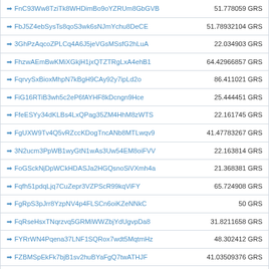| Address | Amount |
| --- | --- |
| ➡ FnC93Ww8TziTk8WHDimBo9oYZRUm8GbGVB | 51.778059 GRS |
| ➡ FbJ5Z4ebSysTs8qoS3wk6sNJmYchu8DeCE | 51.78932104 GRS |
| ➡ 3GhPzAqcoZPLCq4A6J5jeVGsMSsfG2hLuA | 22.034903 GRS |
| ➡ FhzwAEmBwKMiXGkjH1jxQTZTRgLxA4ehB1 | 64.42966857 GRS |
| ➡ FqrvySxBioxMhpN7kBgH9CAy92y7ipLd2o | 86.411021 GRS |
| ➡ FiG16RTiB3wh5c2eP6fAYHF8kDcngn9Hce | 25.444451 GRS |
| ➡ FfeESYy34dKLBs4LxQPag35ZM4HhM8zWTS | 22.161745 GRS |
| ➡ FgUXW9Tv4Q5vRZccKDogTncANb8MTLwqv9 | 41.47783267 GRS |
| ➡ 3N2ucm3PpWB1wyGtN1wAs3Uw54EM8oiFVV | 22.163814 GRS |
| ➡ FoGSckNjDpWCkHDASJa2HGQsnoSiVXmh4a | 21.368381 GRS |
| ➡ Fqfh51pdqLjq7CuZepr3VZPScR99kqViFY | 65.724908 GRS |
| ➡ FgRpS3pJrr8YzpNV4p4FLSCn6oiKZeNNkC | 50 GRS |
| ➡ FqRseHsxTNqrzvq5GRMiWWZbjYdUgvpDa8 | 31.8211658 GRS |
| ➡ FYRrWN4Pqena37LNF1SQRox7wdt5MqtmHz | 48.302412 GRS |
| ➡ FZBMSpEkFk7bjB1sv2huBYaFgQ7twATHJF | 41.03509376 GRS |